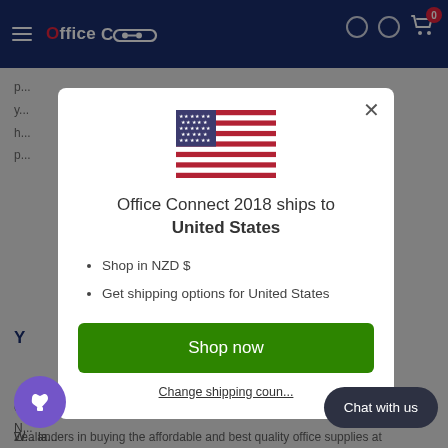Office Connect - navigation bar with logo and cart
p... y... h... p...
Y...
O... N... W... la... Zealanders in buying the affordable and best quality office supplies at
[Figure (screenshot): Modal dialog with US flag, shipping info for United States, Shop now button, and Change shipping country link]
Office Connect 2018 ships to United States
Shop in NZD $
Get shipping options for United States
Shop now
Change shipping coun...
Chat with us